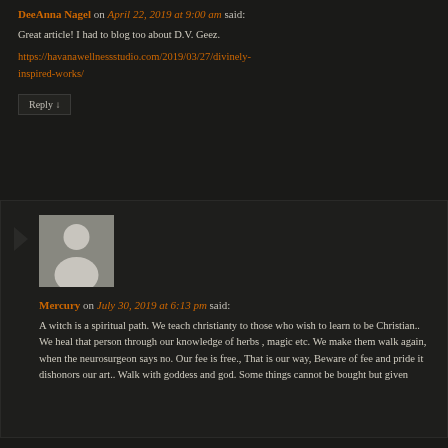DeeAnna Nagel on April 22, 2019 at 9:00 am said:
Great article! I had to blog too about D.V. Geez.
https://havanawellnessstudio.com/2019/03/27/divinely-inspired-works/
Reply ↓
[Figure (photo): Generic user avatar placeholder with person silhouette on grey background]
Mercury on July 30, 2019 at 6:13 pm said:
A witch is a spiritual path. We teach christianty to those who wish to learn to be Christian.. We heal that person through our knowledge of herbs , magic etc. We make them walk again, when the neurosurgeon says no. Our fee is free., That is our way, Beware of fee and pride it dishonors our art.. Walk with goddess and god. Some things cannot be bought but given